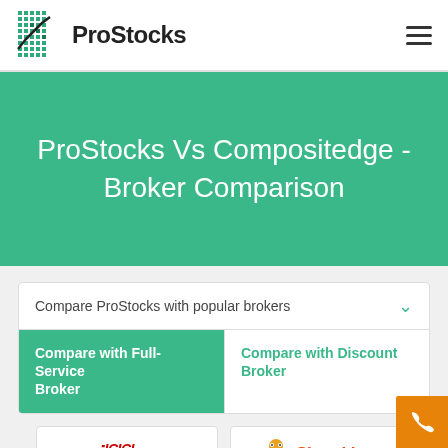[Figure (logo): ProStocks logo with grid/chart icon and bold text 'ProStocks']
ProStocks Vs Compositedge - Broker Comparison
Compare ProStocks with popular brokers
Compare with Full-Service Broker
Compare with Discount Broker
[Figure (logo): ICICI direct.com logo in red italic]
[Figure (logo): Sharekhan logo with mascot icon and red-orange text]